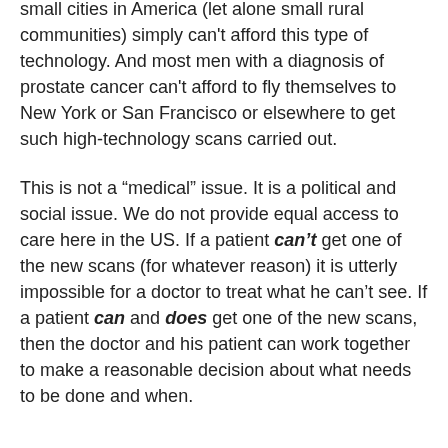small cities in America (let alone small rural communities) simply can't afford this type of technology. And most men with a diagnosis of prostate cancer can't afford to fly themselves to New York or San Francisco or elsewhere to get such high-technology scans carried out.
This is not a “medical” issue. It is a political and social issue. We do not provide equal access to care here in the US. If a patient can’t get one of the new scans (for whatever reason) it is utterly impossible for a doctor to treat what he can’t see. If a patient can and does get one of the new scans, then the doctor and his patient can work together to make a reasonable decision about what needs to be done and when.